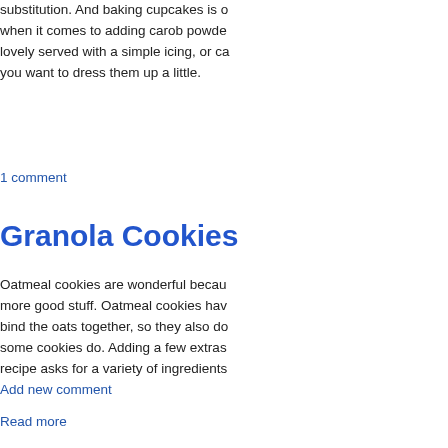substitution. And baking cupcakes is ... when it comes to adding carob powder ... lovely served with a simple icing, or c... you want to dress them up a little.
1 comment
Granola Cookies
Oatmeal cookies are wonderful becau... more good stuff. Oatmeal cookies hav... bind the oats together, so they also d... some cookies do. Adding a few extras... recipe asks for a variety of ingredients...
Add new comment
Read more
Carob Fudge Cake
This week's recipe is for Carob Fudge...